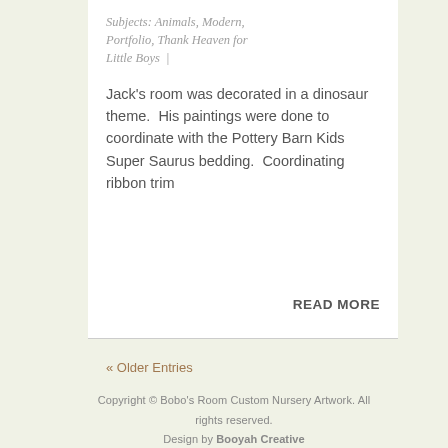Subjects: Animals, Modern, Portfolio, Thank Heaven for Little Boys |
Jack's room was decorated in a dinosaur theme.  His paintings were done to coordinate with the Pottery Barn Kids Super Saurus bedding.  Coordinating ribbon trim
READ MORE
« Older Entries
Copyright © Bobo's Room Custom Nursery Artwork. All rights reserved. Design by Booyah Creative